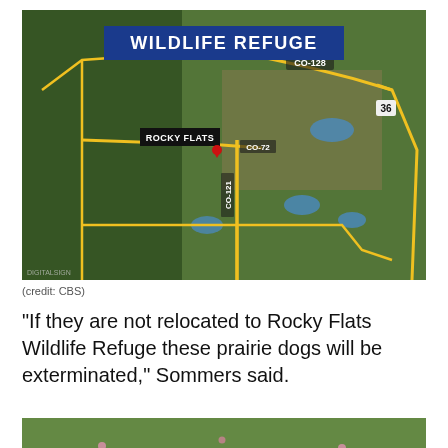[Figure (map): Aerial/satellite map screenshot showing Rocky Flats Wildlife Refuge area with yellow road lines, labeled roads CO-128, CO-72, and route 36. A black label box reads 'ROCKY FLATS' with a red marker pin. A blue banner overlay reads 'WILDLIFE REFUGE'. Small watermark in bottom-left corner.]
(credit: CBS)
"If they are not relocated to Rocky Flats Wildlife Refuge these prairie dogs will be exterminated," Sommers said.
[Figure (photo): Partial photo showing green grassy field with small pink flowers visible, cropped at bottom of page.]